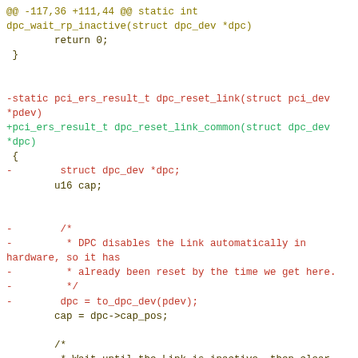[Figure (screenshot): A unified diff (patch) view of C source code showing changes to dpc_reset_link function renamed to dpc_reset_link_common, with removed lines in red and added lines in green on a white background.]